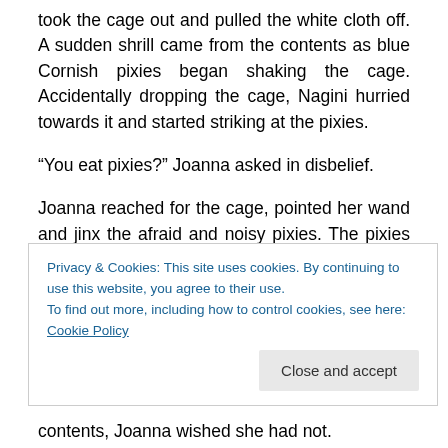took the cage out and pulled the white cloth off. A sudden shrill came from the contents as blue Cornish pixies began shaking the cage. Accidentally dropping the cage, Nagini hurried towards it and started striking at the pixies.
“You eat pixies?” Joanna asked in disbelief.
Joanna reached for the cage, pointed her wand and jinx the afraid and noisy pixies. The pixies started to fall into a dreamy state and that was when Joanna opened the top and pulled out one pixie. Placing it on the ground, Nagini immediately grabbed for it and slithered away to a corner.
Privacy & Cookies: This site uses cookies. By continuing to use this website, you agree to their use.
To find out more, including how to control cookies, see here: Cookie Policy
contents, Joanna wished she had not.